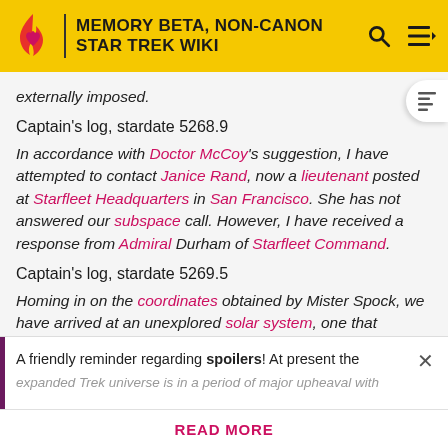MEMORY BETA, NON-CANON STAR TREK WIKI
externally imposed.
Captain's log, stardate 5268.9
In accordance with Doctor McCoy's suggestion, I have attempted to contact Janice Rand, now a lieutenant posted at Starfleet Headquarters in San Francisco. She has not answered our subspace call. However, I have received a response from Admiral Durham of Starfleet Command.
Captain's log, stardate 5269.5
Homing in on the coordinates obtained by Mister Spock, we have arrived at an unexplored solar system, one that
A friendly reminder regarding spoilers! At present the expanded Trek universe is in a period of major upheaval with
READ MORE